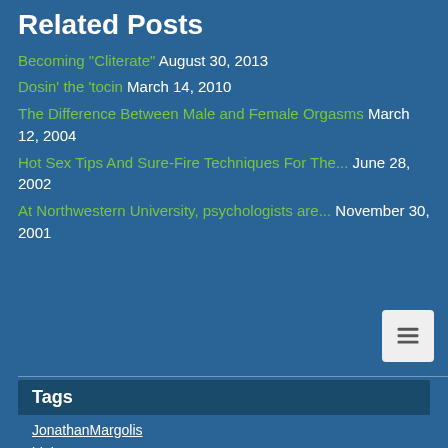Related Posts
Becoming "Cliterate" August 30, 2013
Dosin' the 'tocin March 14, 2010
The Difference Between Male and Female Orgasms March 12, 2004
Hot Sex Tips And Sure-Fire Techniques For The... June 28, 2002
At Northwestern University, psychologists are... November 30, 2001
Tags
JonathanMargolis
biology
sex
men
women